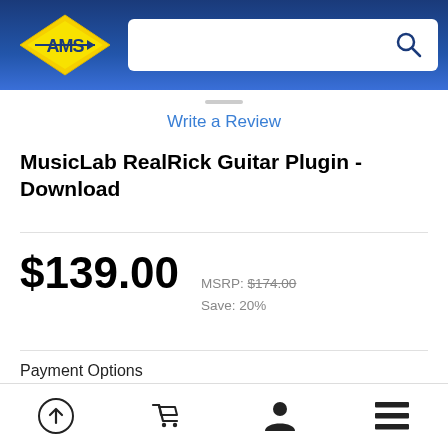[Figure (logo): AMS (American Musical Supply) logo with yellow lightning bolt/arrow graphic and blue gradient background header with search bar]
Write a Review
MusicLab RealRick Guitar Plugin - Download
$139.00  MSRP: $174.00  Save: 20%
Payment Options
4 Payments of $34.75
0% Interest with AMS EZ-Pay